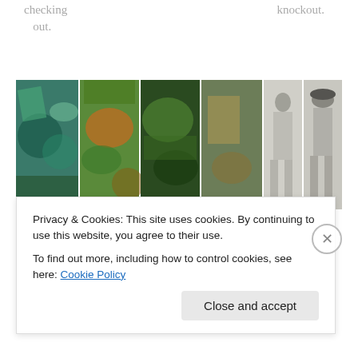checking
   out.
knockout.
[Figure (photo): A horizontal strip of five photographs showing colorful abstract paintings (left four) and pencil drawings of human figures (right two).]
Beautiful
drawing
by Joel
Daniel
Phillips
Privacy & Cookies: This site uses cookies. By continuing to use this website, you agree to their use.
To find out more, including how to control cookies, see here: Cookie Policy
Close and accept